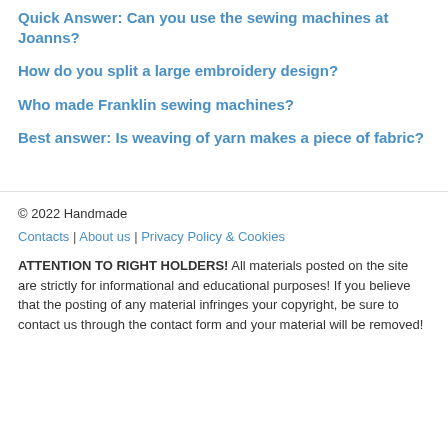Quick Answer: Can you use the sewing machines at Joanns?
How do you split a large embroidery design?
Who made Franklin sewing machines?
Best answer: Is weaving of yarn makes a piece of fabric?
© 2022 Handmade
Contacts | About us | Privacy Policy & Cookies
ATTENTION TO RIGHT HOLDERS! All materials posted on the site are strictly for informational and educational purposes! If you believe that the posting of any material infringes your copyright, be sure to contact us through the contact form and your material will be removed!